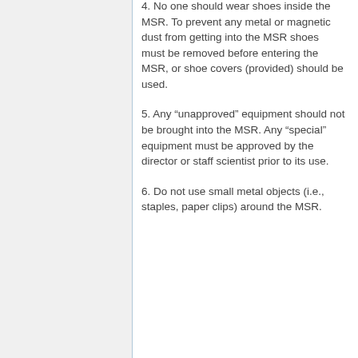4. No one should wear shoes inside the MSR. To prevent any metal or magnetic dust from getting into the MSR shoes must be removed before entering the MSR, or shoe covers (provided) should be used.
5. Any “unapproved” equipment should not be brought into the MSR. Any “special” equipment must be approved by the director or staff scientist prior to its use.
6. Do not use small metal objects (i.e., staples, paper clips) around the MSR.